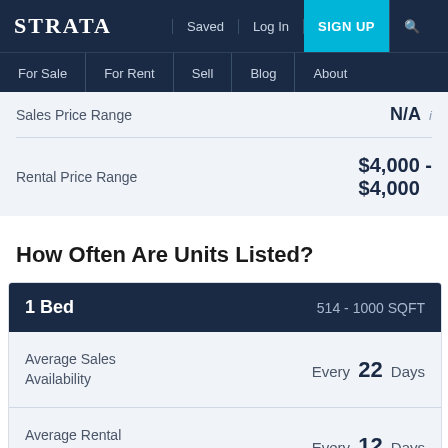STRATA | Saved | Log In | SIGN UP
For Sale | For Rent | Sell | Blog | About
|  |  |
| --- | --- |
| Sales Price Range | N/A |
| Rental Price Range | $4,000 - $4,000 |
How Often Are Units Listed?
| 1 Bed | 514 - 1000 SQFT |
| --- | --- |
| Average Sales Availability | Every 22 Days |
| Average Rental Availability | Every 12 Days |